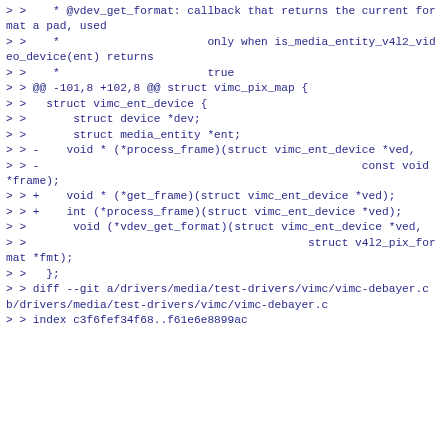> >    * @vdev_get_format: callback that returns the current format a pad, used
> >    *                      only when is_media_entity_v4l2_video_device(ent) returns
> >    *                      true
> > @@ -101,8 +102,8 @@ struct vimc_pix_map {
> >   struct vimc_ent_device {
> >       struct device *dev;
> >       struct media_entity *ent;
> > -    void * (*process_frame)(struct vimc_ent_device *ved,
> > -                                                const void *frame);
> > +    void * (*get_frame)(struct vimc_ent_device *ved);
> > +    int (*process_frame)(struct vimc_ent_device *ved);
> >       void (*vdev_get_format)(struct vimc_ent_device *ved,
> >                                          struct v4l2_pix_format *fmt);
> >   };
> > diff --git a/drivers/media/test-drivers/vimc/vimc-debayer.c b/drivers/media/test-drivers/vimc/vimc-debayer.c
> > index c3f6fef34f68..f61e6e8899ac